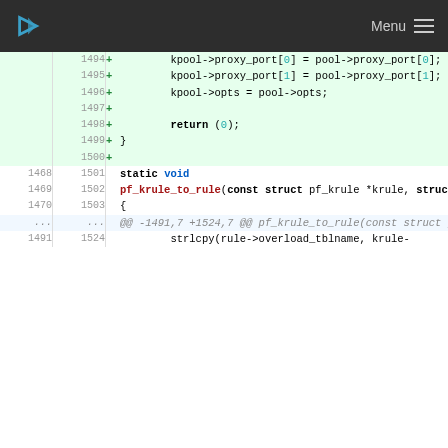Menu
Code diff showing lines 1494-1503 and surrounding context. Added lines show kpool proxy port assignments and static void pf_krule_to_rule function. Normal lines show existing function definition and strlcpy call.